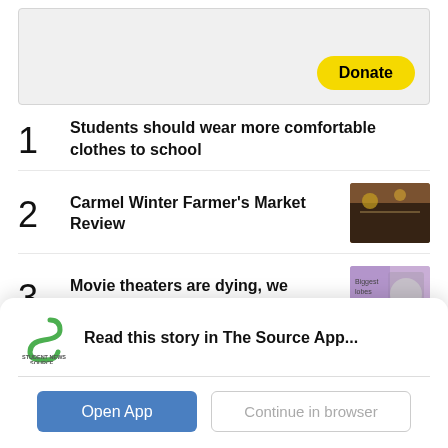[Figure (other): Gray banner area with a yellow Donate button in the bottom right corner]
1  Students should wear more comfortable clothes to school
2  Carmel Winter Farmer's Market Review
3  Movie theaters are dying, we shouldn't let them
Read this story in The Source App...
Open App  Continue in browser